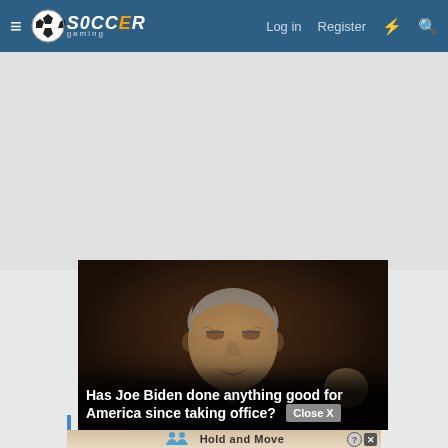Soccer Gaming — Log in   Register
[Figure (screenshot): Advertisement/empty gray space area at top of page]
[Figure (photo): Photo of Joe Biden speaking, with overlaid text: 'Has Joe Biden done anything good for America since taking office?' and a Close X button]
[Figure (screenshot): Bottom advertisement strip with people icons and text 'Hold and Move', with close/info icons]